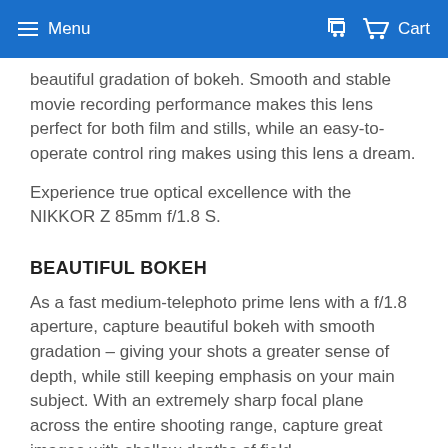Menu   Cart
beautiful gradation of bokeh. Smooth and stable movie recording performance makes this lens perfect for both film and stills, while an easy-to-operate control ring makes using this lens a dream.
Experience true optical excellence with the NIKKOR Z 85mm f/1.8 S.
BEAUTIFUL BOKEH
As a fast medium-telephoto prime lens with a f/1.8 aperture, capture beautiful bokeh with smooth gradation – giving your shots a greater sense of depth, while still keeping emphasis on your main subject. With an extremely sharp focal plane across the entire shooting range, capture great images with shallow depths of field.
SHARP FROM ANY DISTANCE
Experience superb imaging performance from any focus distance